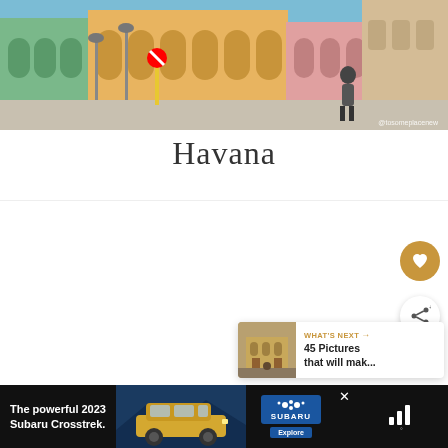[Figure (photo): Street scene in Havana, Cuba showing colorful colonial buildings with arched facades in pastel colors (green, yellow, pink), a street with a no-parking sign on a yellow post, and a person standing near the wall. Watermark reads @tosomeplacenew.]
Havana
[Figure (screenshot): White content area with a gold/amber favorite (heart) button and a white share button on the right side. A 'What's Next' card in the bottom right shows a thumbnail of a building and text '45 Pictures that will mak...']
[Figure (screenshot): Advertisement bar at the bottom with dark background showing 'The powerful 2023 Subaru Crosstrek.' text, a yellow SUV car image, Subaru logo with Explore button, and a close (X) icon. Weather icon visible on right.]